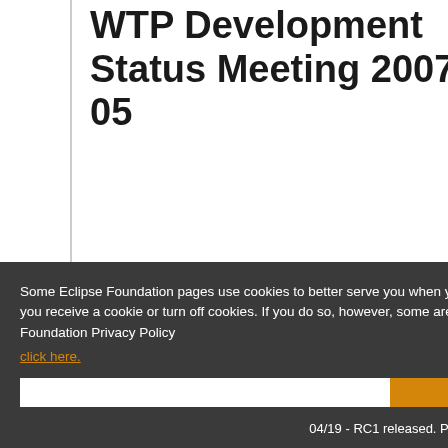WTP Development Status Meeting 2007-04-05
Some Eclipse Foundation pages use cookies to better serve you when you return to the site. You can set your browser to notify you before you receive a cookie or turn off cookies. If you do so, however, some areas of some sites may not function properly. To read Eclipse Foundation Privacy Policy
click here.
Decline
Allow cookies
04/19 - RC1 released. PMC will only approve